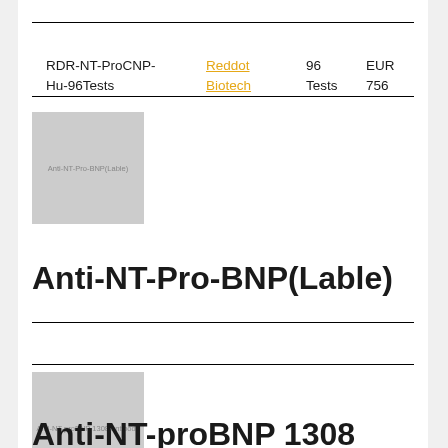| Product | Supplier | Size | Price |
| --- | --- | --- | --- |
| RDR-NT-ProCNP-Hu-96Tests | Reddot Biotech | 96 Tests | EUR 756 |
[Figure (photo): Product image placeholder for Anti-NT-Pro-BNP(Lable) with grey background]
Anti-NT-Pro-BNP(Lable)
| Product Code | Supplier | Size | Price |
| --- | --- | --- | --- |
| E63C00504 | EnoGene | 100ug | EUR 382 |
[Figure (photo): Product image placeholder for Anti-NT-proBNP 1308 antibody with grey background]
Anti-NT-proBNP 1308